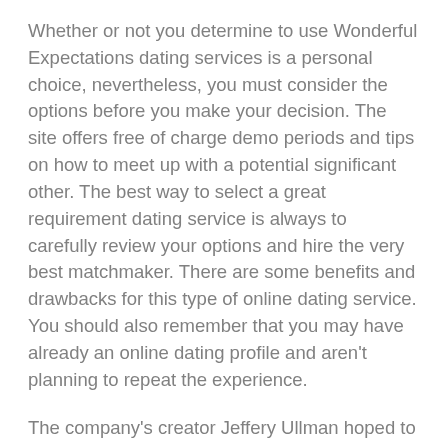Whether or not you determine to use Wonderful Expectations dating services is a personal choice, nevertheless, you must consider the options before you make your decision. The site offers free of charge demo periods and tips on how to meet up with a potential significant other. The best way to select a great requirement dating service is always to carefully review your options and hire the very best matchmaker. There are some benefits and drawbacks for this type of online dating service. You should also remember that you may have already an online dating profile and aren't planning to repeat the experience.
The company's creator Jeffery Ullman hoped to use video seeing as a way to match potential lovers. But this individual didn't really want his clients to shell out hundreds of dollars per year. Rather than relying on people's good impacts, he desired to build a